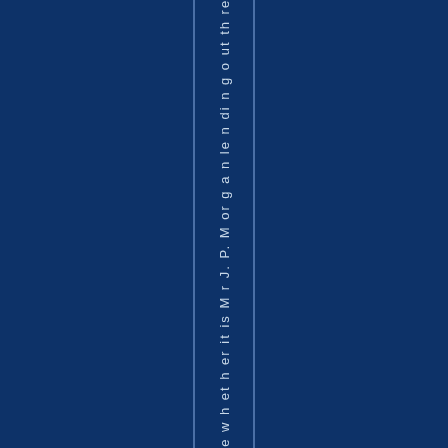a m e w h et h er it is M r J. P. M or g a n le n di n g o ut th re e D